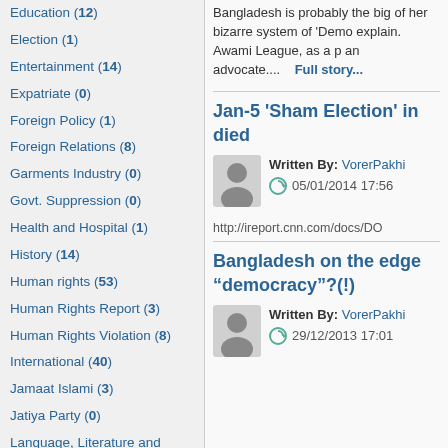Education (12)
Election (1)
Entertainment (14)
Expatriate (0)
Foreign Policy (1)
Foreign Relations (8)
Garments Industry (0)
Govt. Suppression (0)
Health and Hospital (1)
History (14)
Human rights (53)
Human Rights Report (3)
Human Rights Violation (8)
International (40)
Jamaat Islami (3)
Jatiya Party (0)
Language, Literature and Culture (0)
Bangladesh is probably the big of her bizarre system of 'Demo explain.  Awami League, as a p an advocate....  Full story...
Jan-5 'Sham Election' in died
Written By: VorerPakhi
05/01/2014 17:56
http://ireport.cnn.com/docs/DO
Bangladesh on the edge "democracy"?(!)
Written By: VorerPakhi
29/12/2013 17:01